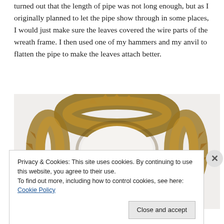turned out that the length of pipe was not long enough, but as I originally planned to let the pipe show through in some places, I would just make sure the leaves covered the wire parts of the wreath frame. I then used one of my hammers and my anvil to flatten the pipe to make the leaves attach better.
[Figure (photo): A circular wreath made of dried autumn leaves (brown, tan, copper tones) arranged in a ring shape on a white background, viewed from above.]
Privacy & Cookies: This site uses cookies. By continuing to use this website, you agree to their use.
To find out more, including how to control cookies, see here: Cookie Policy